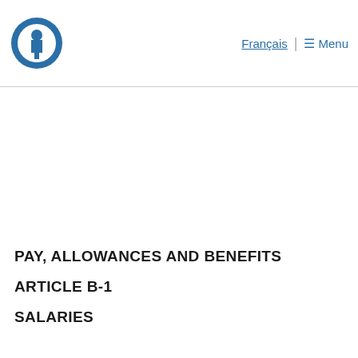Français | ☰ Menu
PAY, ALLOWANCES AND BENEFITS
ARTICLE B-1
SALARIES